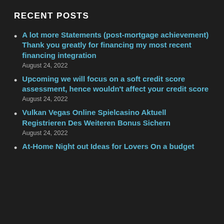RECENT POSTS
A lot more Statements (post-mortgage achievement) Thank you greatly for financing my most recent financing integration
August 24, 2022
Upcoming we will focus on a soft credit score assessment, hence wouldn't affect your credit score
August 24, 2022
Vulkan Vegas Online Spielcasino Aktuell Registrieren Des Weiteren Bonus Sichern
August 24, 2022
At-Home Night out Ideas for Lovers On a budget